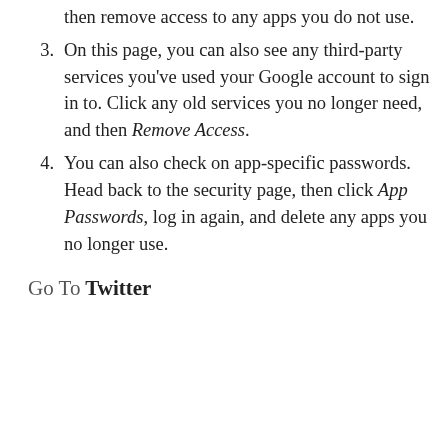then remove access to any apps you do not use.
3. On this page, you can also see any third-party services you’ve used your Google account to sign in to. Click any old services you no longer need, and then Remove Access.
4. You can also check on app-specific passwords. Head back to the security page, then click App Passwords, log in again, and delete any apps you no longer use.
Twitter